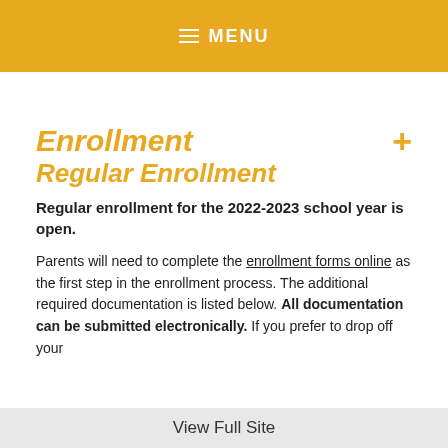≡ MENU
Enrollment
Regular Enrollment
Regular enrollment for the 2022-2023 school year is open.
Parents will need to complete the enrollment forms online as the first step in the enrollment process. The additional required documentation is listed below. All documentation can be submitted electronically. If you prefer to drop off your
View Full Site